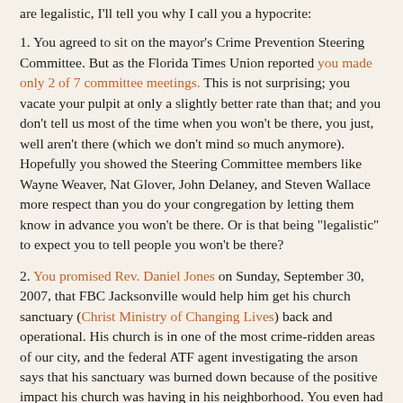are legalistic, I'll tell you why I call you a hypocrite:
1. You agreed to sit on the mayor's Crime Prevention Steering Committee. But as the Florida Times Union reported you made only 2 of 7 committee meetings. This is not surprising; you vacate your pulpit at only a slightly better rate than that; and you don't tell us most of the time when you won't be there, you just, well aren't there (which we don't mind so much anymore). Hopefully you showed the Steering Committee members like Wayne Weaver, Nat Glover, John Delaney, and Steven Wallace more respect than you do your congregation by letting them know in advance you won't be there. Or is that being "legalistic" to expect you to tell people you won't be there?
2. You promised Rev. Daniel Jones on Sunday, September 30, 2007, that FBC Jacksonville would help him get his church sanctuary (Christ Ministry of Changing Lives) back and operational. His church is in one of the most crime-ridden areas of our city, and the federal ATF agent investigating the arson says that his sanctuary was burned down because of the positive impact his church was having in his neighborhood. You even had him come to the church on that Sunday night, and you even called him to the